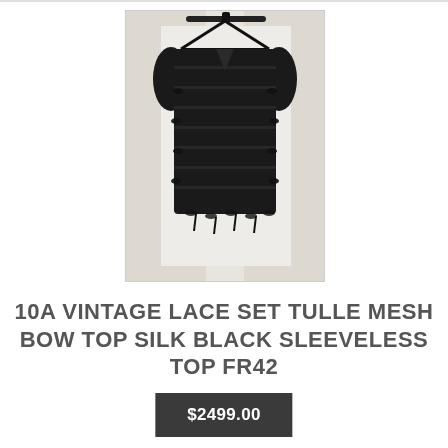[Figure (photo): A black lace/tulle top with bow details hanging on a black hanger against a white door background. The garment is sheer with layered mesh and decorative bows.]
10A VINTAGE LACE SET TULLE MESH BOW TOP SILK BLACK SLEEVELESS TOP FR42
$2499.00